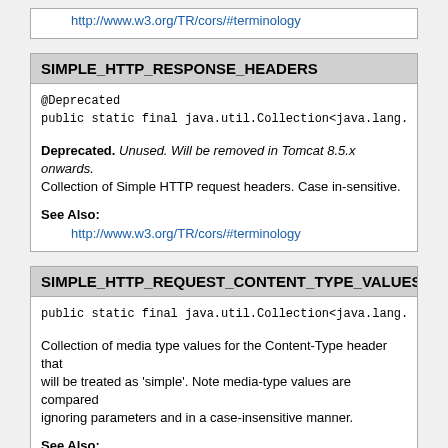http://www.w3.org/TR/cors/#terminology
SIMPLE_HTTP_RESPONSE_HEADERS
@Deprecated
public static final java.util.Collection<java.lang.St
Deprecated. Unused. Will be removed in Tomcat 8.5.x onwards.
Collection of Simple HTTP request headers. Case in-sensitive.
See Also:
http://www.w3.org/TR/cors/#terminology
SIMPLE_HTTP_REQUEST_CONTENT_TYPE_VALUES
public static final java.util.Collection<java.lang.St
Collection of media type values for the Content-Type header that will be treated as 'simple'. Note media-type values are compared ignoring parameters and in a case-insensitive manner.
See Also:
http://www.w3.org/TR/cors/#terminology